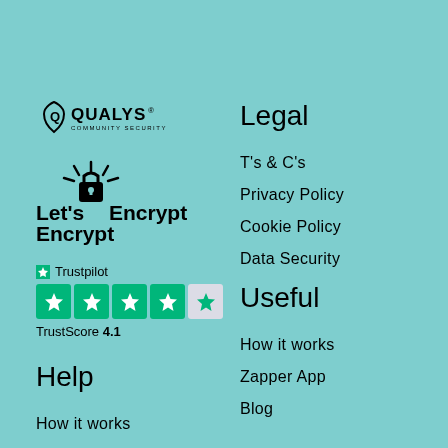[Figure (logo): Qualys logo with shield icon and text 'QUALYS COMMUNITY SECURITY']
[Figure (logo): Let's Encrypt logo with padlock icon and sunburst rays]
[Figure (infographic): Trustpilot rating: 4 green stars and 1 light/partial star, TrustScore 4.1]
Help
How it works
Support
Contact Us
Legal
T's & C's
Privacy Policy
Cookie Policy
Data Security
Useful
How it works
Zapper App
Blog